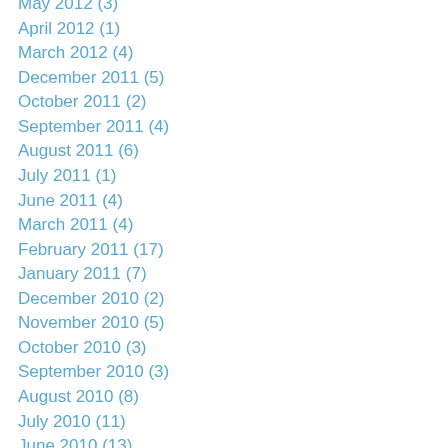May 2012 (3)
April 2012 (1)
March 2012 (4)
December 2011 (5)
October 2011 (2)
September 2011 (4)
August 2011 (6)
July 2011 (1)
June 2011 (4)
March 2011 (4)
February 2011 (17)
January 2011 (7)
December 2010 (2)
November 2010 (5)
October 2010 (3)
September 2010 (3)
August 2010 (8)
July 2010 (11)
June 2010 (13)
May 2010 (15)